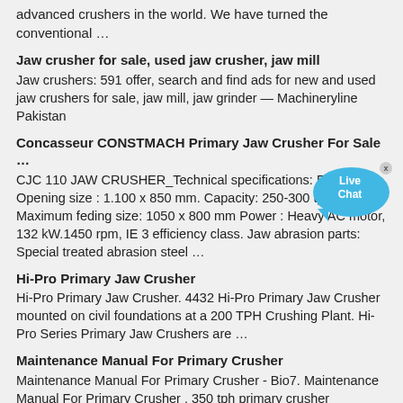advanced crushers in the world. We have turned the conventional …
Jaw crusher for sale, used jaw crusher, jaw mill
Jaw crushers: 591 offer, search and find ads for new and used jaw crushers for sale, jaw mill, jaw grinder — Machineryline Pakistan
Concasseur CONSTMACH Primary Jaw Crusher For Sale …
CJC 110 JAW CRUSHER_Technical specifications: Feed Opening size : 1.100 x 850 mm. Capacity: 250-300 tph Maximum feding size: 1050 x 800 mm Power : Heavy AC motor, 132 kW.1450 rpm, IE 3 efficiency class. Jaw abrasion parts: Special treated abrasion steel …
Hi-Pro Primary Jaw Crusher
Hi-Pro Primary Jaw Crusher. 4432 Hi-Pro Primary Jaw Crusher mounted on civil foundations at a 200 TPH Crushing Plant. Hi-Pro Series Primary Jaw Crushers are …
Maintenance Manual For Primary Crusher
Maintenance Manual For Primary Crusher - Bio7. Maintenance Manual For Primary Crusher . 350 tph primary crusher maintenance sbe crusher 1 5 tph mining world quarry posts related to preventive maintenance manual for 100 tph jaw crusher pdf chat now 350 tph jaw crushers up to 200 tph power.
Aytar Mechanical – Website